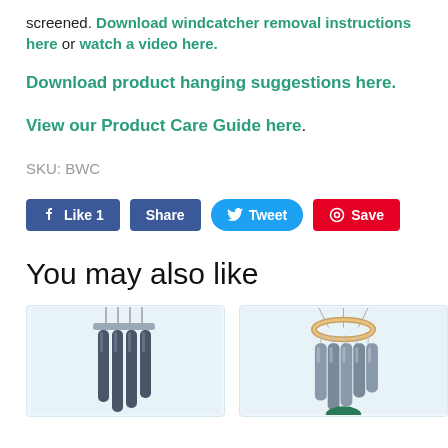screened. Download windcatcher removal instructions here or watch a video here.
Download product hanging suggestions here.
View our Product Care Guide here.
SKU: BWC
[Figure (screenshot): Social sharing buttons: Like 1 (Facebook blue), Share (Facebook blue), Tweet (Twitter blue), Save (Pinterest red)]
You may also like
[Figure (photo): Two product cards showing wind chimes. Left card shows dark/navy wind chimes on light blue background. Right card shows wind chimes with wooden/bamboo top ring and green accent on light blue background.]